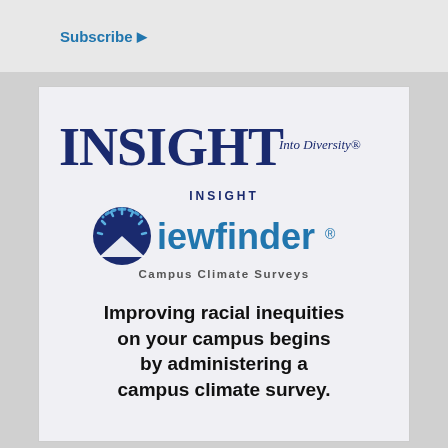Subscribe ▶
[Figure (logo): INSIGHT Into Diversity logo — large serif bold dark navy 'INSIGHT' with italic 'Into Diversity®' in smaller text beside it]
[Figure (logo): INSIGHT Viewfinder Campus Climate Surveys logo — circular gauge icon with 'Viewfinder®' in blue and 'Campus Climate Surveys' below]
Improving racial inequities on your campus begins by administering a campus climate survey.